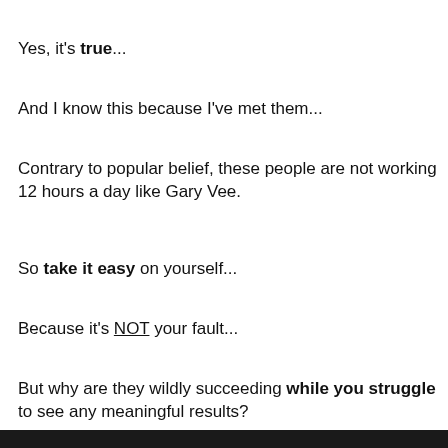Yes, it's true...
And I know this because I've met them...
Contrary to popular belief, these people are not working 12 hours a day like Gary Vee.
So take it easy on yourself...
Because it's NOT your fault...
But why are they wildly succeeding while you struggle to see any meaningful results?